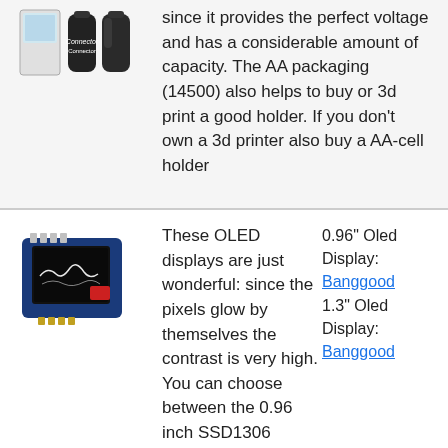[Figure (photo): AA batteries and a battery connector/holder product package]
since it provides the perfect voltage and has a considerable amount of capacity. The AA packaging (14500) also helps to buy or 3d print a good holder. If you don't own a 3d printer also buy a AA-cell holder
[Figure (photo): 0.96 inch OLED display module on a blue PCB board with a small red element]
These OLED displays are just wonderful: since the pixels glow by themselves the contrast is very high. You can choose between the 0.96 inch SSD1306 display or the 1.3 inch SH1106 one. The smaller one you can buy in the Squix Shop, the other you'll have to order from
0.96" Oled Display: Banggood 1.3" Oled Display: Banggood